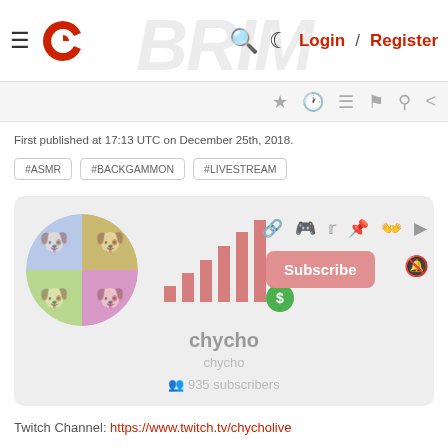≡ [logo] Login / Register
First published at 17:13 UTC on December 25th, 2018.
#ASMR
#BACKGAMMON
#LIVESTREAM
[Figure (screenshot): Channel card for 'chycho' showing avatar, signal bars, social icons, Subscribe button, and 935 subscribers]
Twitch Channel: https://www.twitch.tv/chycholive
Previous video, Day 1 of 3: